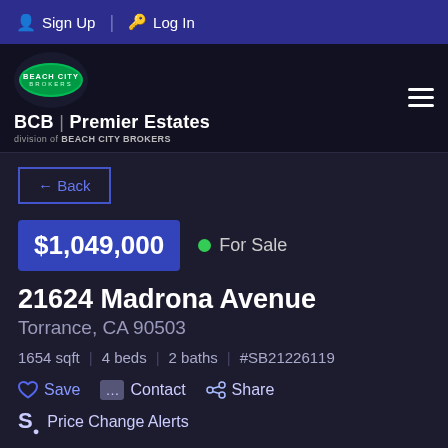Sign Up  Log In
[Figure (logo): Beach City Brokers logo with BCB | Premier Estates text and hamburger menu]
← Back
$1,049,000  ● For Sale
21624 Madrona Avenue
Torrance, CA 90503
1654 sqft  |  4 beds  |  2 baths  |  #SB21226119
♡ Save  ▪ Contact  ◉ Share
$ Price Change Alerts